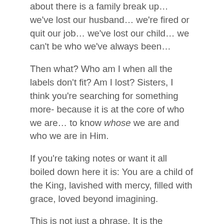about there is a family break up… we've lost our husband… we're fired or quit our job… we've lost our child… we can't be who we've always been…
Then what? Who am I when all the labels don't fit? Am I lost? Sisters, I think you're searching for something more- because it is at the core of who we are… to know whose we are and who we are in Him.
If you're taking notes or want it all boiled down here it is: You are a child of the King, lavished with mercy, filled with grace, loved beyond imagining.
This is not just a phrase. It is the answer to: Who am I?
I don't know about you but, often I'm concerned about the REAL answer of: Who Am I? Afraid if people knew